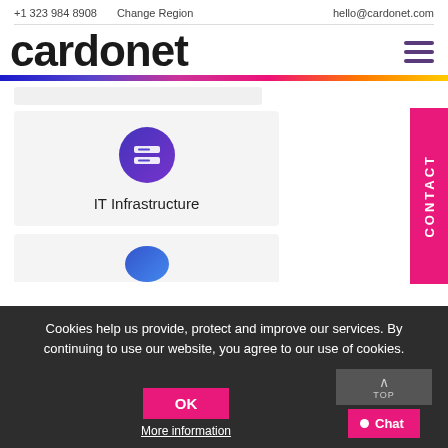+1 323 984 8908   Change Region   hello@cardonet.com
cardonet
[Figure (screenshot): Cardonet website screenshot showing logo, navigation hamburger menu, rainbow gradient bar, CONTACT sidebar tab, IT Infrastructure service card with purple circle icon, and a partially visible second service card below]
IT Infrastructure
Cookies help us provide, protect and improve our services. By continuing to use our website, you agree to our use of cookies.
OK
More information
Chat